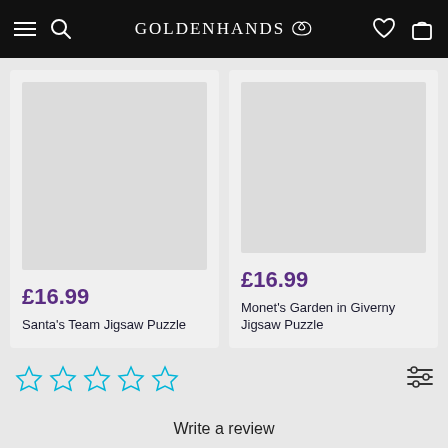GOLDENHANDS
[Figure (other): Product card: Santa's Team Jigsaw Puzzle, £16.99, grey image placeholder]
[Figure (other): Product card: Monet's Garden in Giverny Jigsaw Puzzle, £16.99, grey image placeholder]
[Figure (other): 5 empty star rating icons in cyan/blue outline]
Write a review